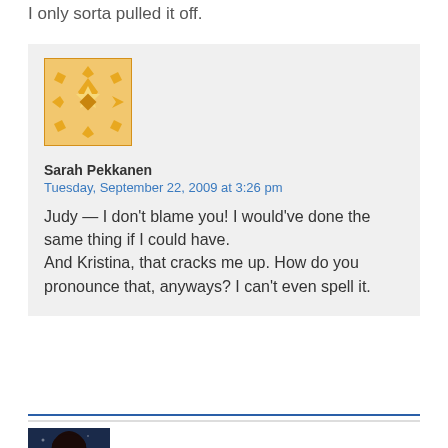I only sorta pulled it off.
Sarah Pekkanen
Tuesday, September 22, 2009 at 3:26 pm

Judy — I don't blame you! I would've done the same thing if I could have.
And Kristina, that cracks me up. How do you pronounce that, anyways? I can't even spell it.
[Figure (illustration): Golden snowflake/geometric pattern avatar icon for Sarah Pekkanen]
[Figure (photo): Photo avatar of a woman with dark hair against a dark blue background]